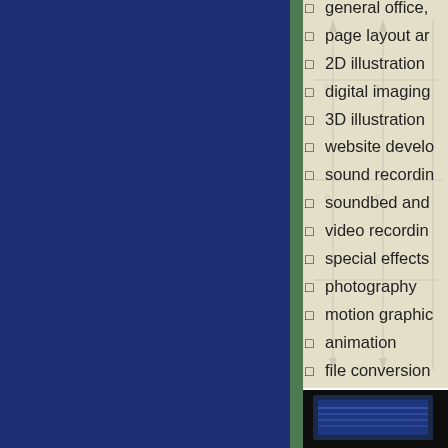general office,
page layout ar
2D illustration
digital imaging
3D illustration
website develo
sound recordin
soundbed and
video recordin
special effects
photography
motion graphic
animation
file conversion
myriad special
[Figure (photo): Dark photo strip at bottom right showing what appears to be a computer screen or display]